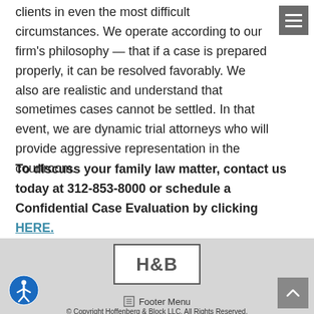clients in even the most difficult circumstances. We operate according to our firm’s philosophy — that if a case is prepared properly, it can be resolved favorably. We also are realistic and understand that sometimes cases cannot be settled. In that event, we are dynamic trial attorneys who will provide aggressive representation in the courtroom.
To discuss your family law matter, contact us today at 312-853-8000 or schedule a Confidential Case Evaluation by clicking HERE.
[Figure (logo): H&B law firm logo in a rectangular border]
Footer Menu
© Copyright Hoffenberg & Block LLC. All Rights Reserved.